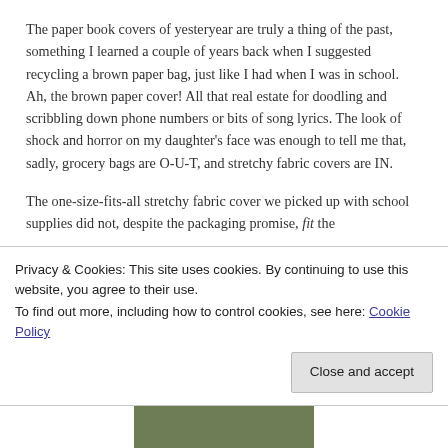The paper book covers of yesteryear are truly a thing of the past, something I learned a couple of years back when I suggested recycling a brown paper bag, just like I had when I was in school. Ah, the brown paper cover! All that real estate for doodling and scribbling down phone numbers or bits of song lyrics. The look of shock and horror on my daughter's face was enough to tell me that, sadly, grocery bags are O-U-T, and stretchy fabric covers are IN.
The one-size-fits-all stretchy fabric cover we picked up with school supplies did not, despite the packaging promise, fit the
Privacy & Cookies: This site uses cookies. By continuing to use this website, you agree to their use.
To find out more, including how to control cookies, see here: Cookie Policy
Close and accept